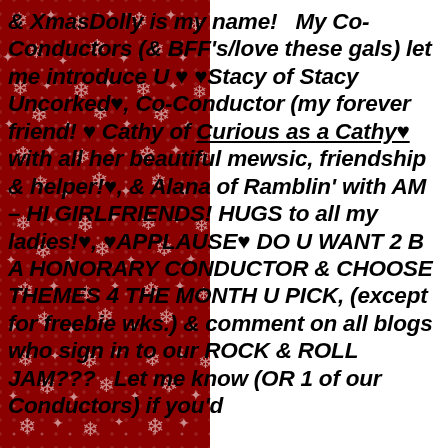[Figure (illustration): Red background panel with white snowflake/star pattern on the left side of the page]
& XmasDolly is my name!  My Co-Conductors (& BFF's/love these gals) let me introduce U ♥ ♥Stacy of Stacy Uncorked♥, Co-Conductor (my forever friend! ♥ Cathy of Curious as a Cathy♥ with all her beautiful mewsic, friendship & helper!♥, & Alana of Ramblin' with AM – HI GIRLFRIENDS! HUGS to all my ladies!♥, ♥APPLAUSE♥ DO U WANT 2 B A HONORARY CONDUCTOR & CHOOSE THEMES 4 THE MONTH U PICK, (except for freebie wks.) & comment on all blogs who sign in to our ROCK & ROLL JAM???  Let me know (OR 1 of our Conductors) if you'd